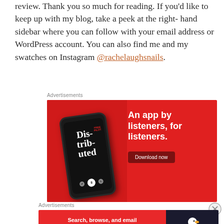review. Thank you so much for reading. If you'd like to keep up with my blog, take a peek at the right-hand sidebar where you can follow with your email address or WordPress account. You can also find me and my swatches on Instagram @rachelaughsnails.
Advertisements
[Figure (photo): Red advertisement banner for a podcast app. Shows a smartphone with 'Dis-trib-uted' text on screen, with text 'An app by listeners, for listeners.' and a 'Download now' button on the right.]
Advertisements
[Figure (photo): DuckDuckGo advertisement banner. Left side red with text 'Search, browse, and email with more privacy. All in One Free App'. Right side dark with DuckDuckGo duck logo and brand name.]